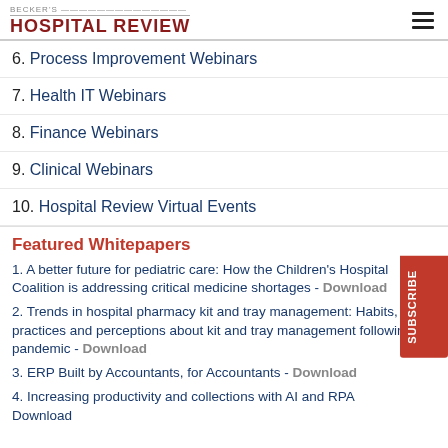BECKER'S HOSPITAL REVIEW
6. Process Improvement Webinars
7. Health IT Webinars
8. Finance Webinars
9. Clinical Webinars
10. Hospital Review Virtual Events
Featured Whitepapers
1. A better future for pediatric care: How the Children's Hospital Coalition is addressing critical medicine shortages - Download
2. Trends in hospital pharmacy kit and tray management: Habits, practices and perceptions about kit and tray management following the pandemic - Download
3. ERP Built by Accountants, for Accountants - Download
4. Increasing productivity and collections with AI and RPA - Download